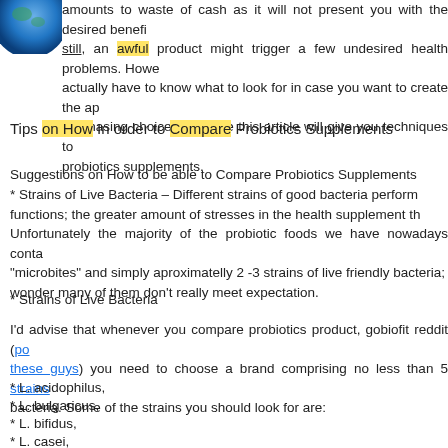amounts to waste of cash as it will not present you with the desired benefits; still, an awful product might trigger a few undesired health problems. However, actually have to know what to look for in case you want to create the appropriate purchasing choice; therefore this article will give you techniques to compare probiotics supplements.
Tips on How In order to Compare Probiotics Supplements
Suggestions on How to be able to Compare Probiotics Supplements
* Strains of Live Bacteria – Different strains of good bacteria perform different functions; the greater amount of stresses in the health supplement the better. Unfortunately the majority of the probiotic foods we have nowadays contain only "microbites" and simply aproximatelly 2 -3 strains of live friendly bacteria; which wonder many of them don't really meet expectation.
* Strains of Live Bacteria
I'd advise that whenever you compare probiotics product, gobiofit reddit (pop over to these guys) you need to choose a brand comprising no less than 5 strains of live bacteria. Some of the strains you should look for are:
* L. acidophilus,
* L. bulgaricus,
* L. bifidus,
* L. casei,
* L. planetarum,
* L. lactis,
* L. fermenti,
* L. helveticus
Acidophilus and bifid bacteria are also known to be strains...